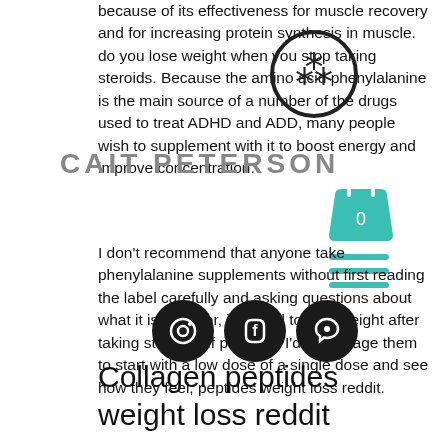because of its effectiveness for muscle recovery and for increasing protein synthesis in muscle. do you lose weight when you stop taking steroids. Because the amino acid phenylalanine is the main source of a number of the drugs used to treat ADHD and ADD, many people wish to supplement with it to boost energy and improve concentration.
I don't recommend that anyone take phenylalanine supplements without first reading the label carefully and asking questions about what it is used for, is it hard to lose weight after taking steroids. If possible, I'd encourage them to start with a low dose of a single dose and see how they feel, peptides weight loss reddit.
Collagen peptides weight loss reddit